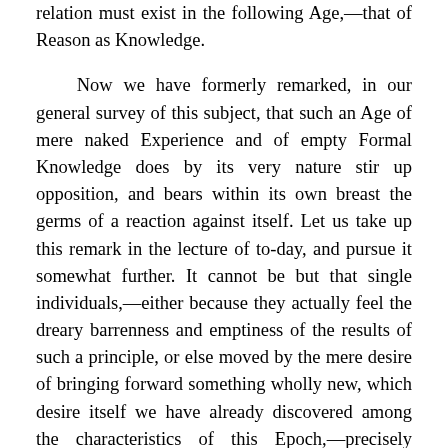relation must exist in the following Age,—that of Reason as Knowledge.

Now we have formerly remarked, in our general survey of this subject, that such an Age of mere naked Experience and of empty Formal Knowledge does by its very nature stir up opposition, and bears within its own breast the germs of a reaction against itself. Let us take up this remark in the lecture of to-day, and pursue it somewhat further. It cannot be but that single individuals,—either because they actually feel the dreary barrenness and emptiness of the results of such a principle, or else moved by the mere desire of bringing forward something wholly new, which desire itself we have already discovered among the characteristics of this Epoch,—precisely inverting the principle of the Age, and representing its pretension to understand all things as its bane and the source of all its error,—should now, on the contrary, set up